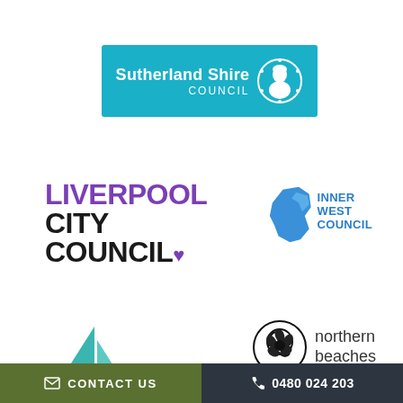[Figure (logo): Sutherland Shire Council logo: teal/cyan rectangular banner with white text 'Sutherland Shire COUNCIL' and a circular portrait emblem on the right]
[Figure (logo): Liverpool City Council logo: 'LIVERPOOL' in large purple bold text, 'CITY COUNCIL' in large black bold text with a small purple heart symbol]
[Figure (logo): Inner West Council logo: blue map shape of the inner west area with 'INNER WEST COUNCIL' text in blue]
[Figure (logo): Sailboat logo (likely Manly or Pittwater area council): teal and dark blue triangular sailboat illustration]
[Figure (logo): Northern Beaches Council logo: circular black and white decorative emblem with text 'northern beaches' in grey]
CONTACT US
0480 024 203